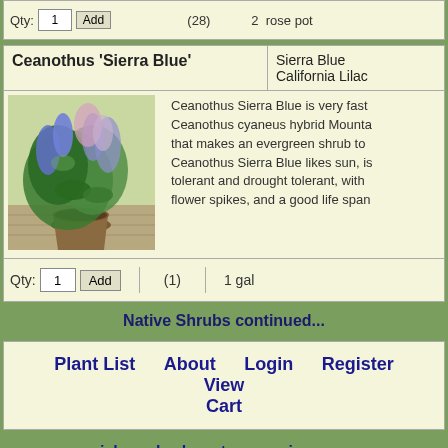| Qty | Add | Stock | Size |
| --- | --- | --- | --- |
| 1 | Add | (28) | 2  rose pot |
Ceanothus 'Sierra Blue'
Sierra Blue California Lilac
[Figure (photo): Photo of Ceanothus Sierra Blue plant with blue/purple flower spikes in a pot]
Ceanothus Sierra Blue is very fast Ceanothus cyaneus hybrid Mounta that makes an evergreen shrub to Ceanothus Sierra Blue likes sun, is tolerant and drought tolerant, with flower spikes, and a good life span
| Qty | Add | Stock | Size |
| --- | --- | --- | --- |
| 1 | Add | (1) | 1 gal |
Native Shrubs continued...
Plant List   About   Login   Register   View Cart
perennials   shrubs   trees   vines   grasses   ferns   bulbs   annuals
search tips   search latin name   search c